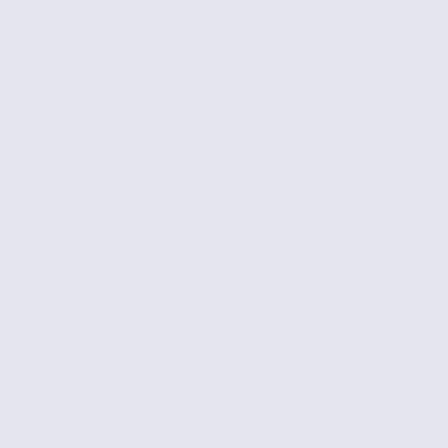considerado como ... incluido dentro de las maravillas, fue ... a su vez por los goo... durante un saqueo ... 262.
[Figure (infographic): Partial infographic showing 'LAS 7' title on parchment background with a timeline bar for EFESO 30 al 300 d.C.]